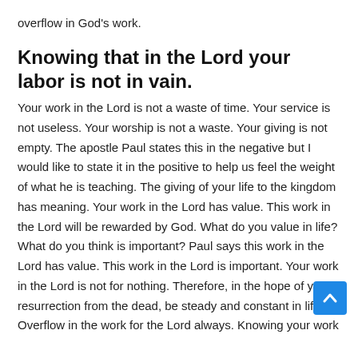overflow in God's work.
Knowing that in the Lord your labor is not in vain.
Your work in the Lord is not a waste of time. Your service is not useless. Your worship is not a waste. Your giving is not empty. The apostle Paul states this in the negative but I would like to state it in the positive to help us feel the weight of what he is teaching. The giving of your life to the kingdom has meaning. Your work in the Lord has value. This work in the Lord will be rewarded by God. What do you value in life? What do you think is important? Paul says this work in the Lord has value. This work in the Lord is important. Your work in the Lord is not for nothing. Therefore, in the hope of your resurrection from the dead, be steady and constant in life. Overflow in the work for the Lord always. Knowing your work